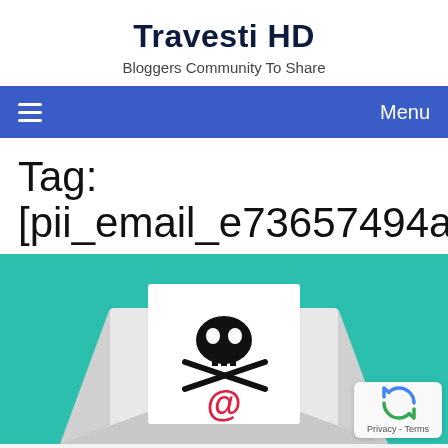Travesti HD
Bloggers Community To Share
≡  Menu
Tag: [pii_email_e73657494ae0f2c310a
[Figure (illustration): Illustration of an open white envelope on a teal/green background. The envelope contains a letter with a skull and crossbones symbol and a red @ symbol below it.]